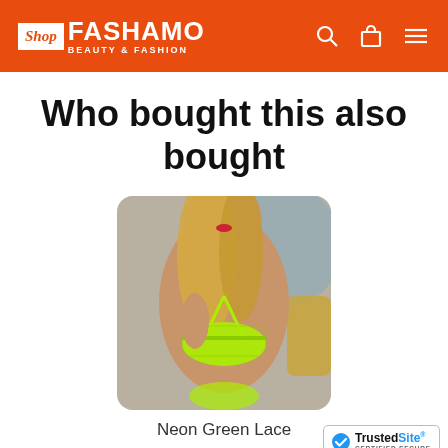Shop FASHAMO BEAUTY & FASHION
Who bought this also bought
[Figure (photo): A woman wearing a neon green lace lingerie set, photographed from the chest down against a decorative background.]
Neon Green Lace
[Figure (logo): TrustedSite CERTIFIED SECURE badge with blue checkmark]